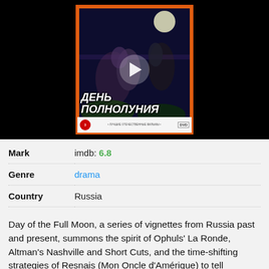[Figure (photo): Movie cover/DVD image for 'День Полнолуния' (Day of the Full Moon) shown inside a dark video player with a play button overlay. The DVD cover shows people in a moonlit scene with Russian text and an orange border.]
| Mark | imdb: 6.8 |
| Genre | drama |
| Country | Russia |
Day of the Full Moon, a series of vignettes from Russia past and present, summons the spirit of Ophuls' La Ronde, Altman's Nashville and Short Cuts, and the time-shifting strategies of Resnais (Mon Oncle d'Amérique) to tell provocative, connected stories illustrating the reality of everyday habitual fear amongst